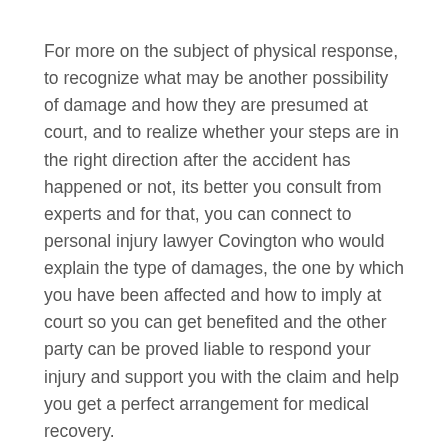For more on the subject of physical response, to recognize what may be another possibility of damage and how they are presumed at court, and to realize whether your steps are in the right direction after the accident has happened or not, its better you consult from experts and for that, you can connect to personal injury lawyer Covington who would explain the type of damages, the one by which you have been affected and how to imply at court so you can get benefited and the other party can be proved liable to respond your injury and support you with the claim and help you get a perfect arrangement for medical recovery.
However, if your vehicle was involved, you want more serious experts who can actually consider your position and can help you get the perfect recovery.